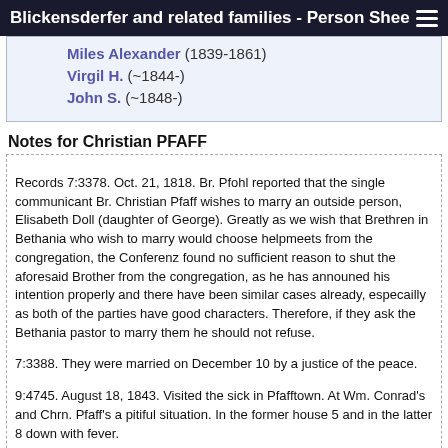Blickensderfer and related families - Person Shee
Miles Alexander (1839-1861)
Virgil H. (~1844-)
John S. (~1848-)
Notes for Christian PFAFF
Records 7:3378. Oct. 21, 1818. Br. Pfohl reported that the single communicant Br. Christian Pfaff wishes to marry an outside person, Elisabeth Doll (daughter of George). Greatly as we wish that Brethren in Bethania who wish to marry would choose helpmeets from the congregation, the Conferenz found no sufficient reason to shut the aforesaid Brother from the congregation, as he has announed his intention properly and there have been similar cases already, especailly as both of the parties have good characters. Therefore, if they ask the Bethania pastor to marry them he should not refuse.
7:3388. They were married on December 10 by a justice of the peace.
9:4745. August 18, 1843. Visited the sick in Pfafftown. At Wm. Conrad's and Chrn. Pfaff's a pitiful situation. In the former house 5 and in the latter 8 down with fever.
9:4987. Nov. 7, 1847. On his application Christian Pfaff with his minor children was readmitted to the congregation by the Committee and the P.H.C. Also the following persons were appproved for confirmation on August 14 by the commitee and the P.H.C.:
The married Sr. Minerva Pfaff, m.n. Flynt.